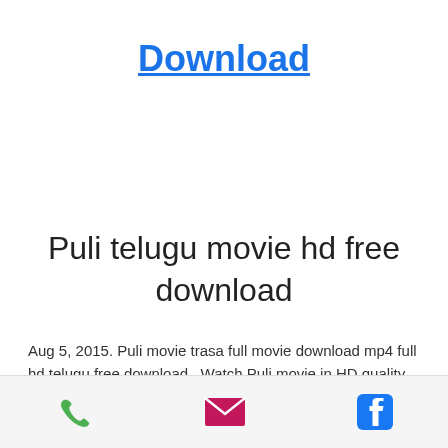Download
Puli telugu movie hd free download
Aug 5, 2015. Puli movie trasa full movie download mp4 full hd telugu free download.. Watch Puli movie in HD quality Telugu Full
[Figure (other): Mobile app bottom navigation bar with phone, email, and Facebook icons]